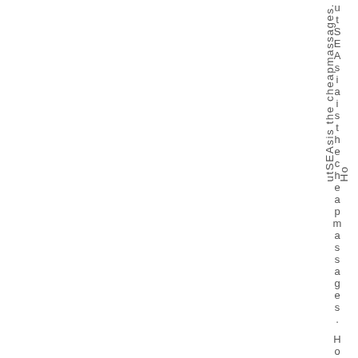utSEAsiaistheapcheapmasssages. Ho